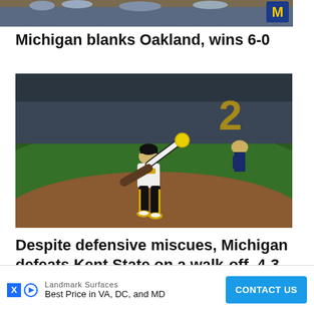[Figure (photo): Partial top photo showing crowd or banner scene at a Michigan softball game]
Michigan blanks Oakland, wins 6-0
[Figure (photo): Michigan softball player in navy and gold uniform throwing a ball on the field at night]
Despite defensive miscues, Michigan defeats Kent State on a walk-off, 4-3
[Figure (other): Advertisement banner: Landmark Surfaces - Best Price in VA, DC, and MD - CONTACT US button]